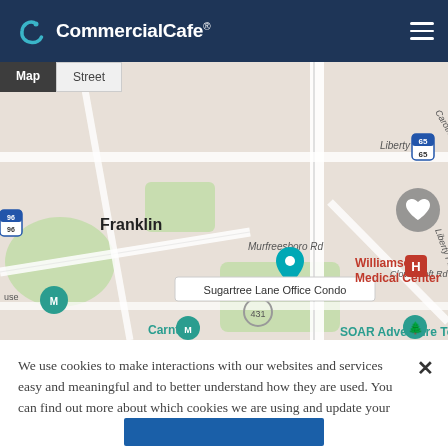CommercialCafe®
[Figure (map): Street map of Franklin, TN area showing Sugartree Lane Office Condo location near Williamson Medical Center, SOAR Adventure Tower, and Carnton. Map/Street view toggle tabs visible. Heart/favorite icon in top right.]
We use cookies to make interactions with our websites and services easy and meaningful and to better understand how they are used. You can find out more about which cookies we are using and update your preferences in Cookies Settings. By clicking "Accept All Cookies," you are agreeing to our use of cookies. Cookie Notice.